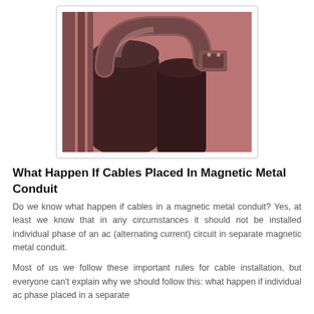[Figure (photo): Close-up photograph of electrical conduit pipes with a red/sepia tint, showing metal conduit fittings and clamps in an industrial setting.]
What Happen If Cables Placed In Magnetic Metal Conduit
Do we know what happen if cables in a magnetic metal conduit? Yes, at least we know that in any circumstances it should not be installed individual phase of an ac (alternating current) circuit in separate magnetic metal conduit.
Most of us we follow these important rules for cable installation, but everyone can't explain why we should follow this: what happen if individual ac phase placed in a separate